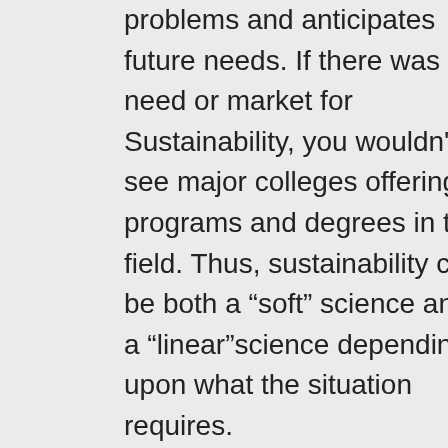problems and anticipates future needs. If there was no need or market for Sustainability, you wouldn't see major colleges offering programs and degrees in the field. Thus, sustainability can be both a “soft” science and a “linear”science depending upon what the situation requires.

These professionals are trained to look at problems and solutions in different ways and in doing so, offer ideas for new processes and systems that improve current practices.

An example that is easy to relate to